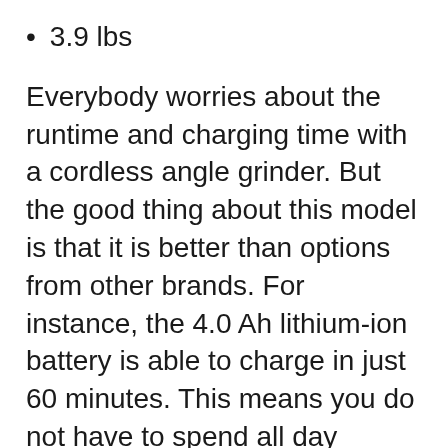3.9 lbs
Everybody worries about the runtime and charging time with a cordless angle grinder. But the good thing about this model is that it is better than options from other brands. For instance, the 4.0 Ah lithium-ion battery is able to charge in just 60 minutes. This means you do not have to spend all day charging your tools.
What's more, the use of brushless motors is going to increase runtime compared to other power tools. This model has an optimized cooling system